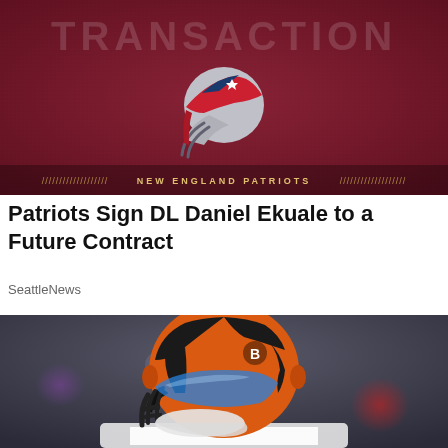[Figure (photo): New England Patriots transaction graphic with dark red/maroon background, Patriots logo (silver helmet with red brim and blue stripe), team name banner at bottom reading 'NEW ENGLAND PATRIOTS' with decorative slash marks on either side, and 'TRANSACTION' text faintly visible at top]
Patriots Sign DL Daniel Ekuale to a Future Contract
SeattleNews
[Figure (photo): Close-up photo of a football player wearing a Cincinnati Bengals orange and black helmet with blue visor/face shield, white jersey visible at bottom, blurred stadium background with bokeh lights]